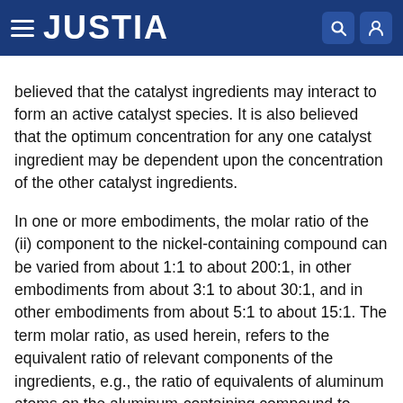JUSTIA
believed that the catalyst ingredients may interact to form an active catalyst species. It is also believed that the optimum concentration for any one catalyst ingredient may be dependent upon the concentration of the other catalyst ingredients.
In one or more embodiments, the molar ratio of the (ii) component to the nickel-containing compound can be varied from about 1:1 to about 200:1, in other embodiments from about 3:1 to about 30:1, and in other embodiments from about 5:1 to about 15:1. The term molar ratio, as used herein, refers to the equivalent ratio of relevant components of the ingredients, e.g., the ratio of equivalents of aluminum atoms on the aluminum-containing compound to equivalents of nickel atoms on the nickel-containing compound. In other words, where difunctional or polyfunctional compounds